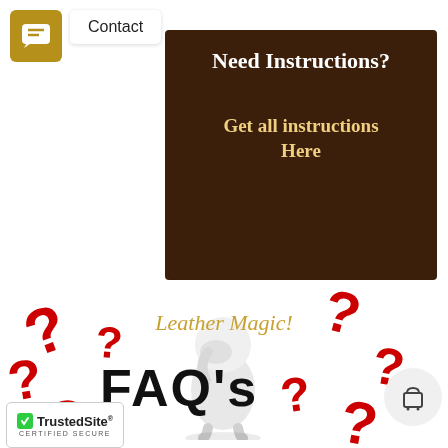[Figure (illustration): Gold/brown chat bubble icon button]
Contact
[Figure (illustration): Dark brown banner with text 'Need Instructions?' and 'Get all instructions Here' in gold/white text]
Need Instructions?
Get all instructions Here
[Figure (illustration): FAQ section with red question marks, a white 3D figure holding its head, 'Leather Magic' text in gold italic, and 'FAQ's' in large bold black text]
[Figure (logo): TrustedSite Certified Secure badge with green checkmark]
TrustedSite® CERTIFIED SECURE